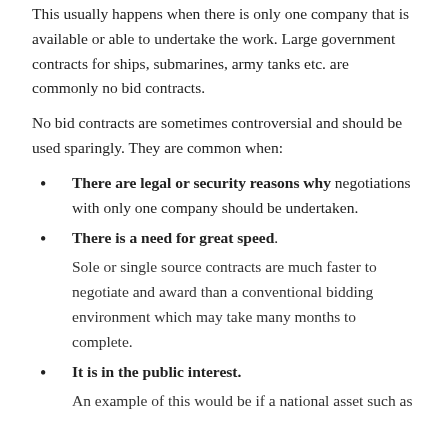This usually happens when there is only one company that is available or able to undertake the work. Large government contracts for ships, submarines, army tanks etc. are commonly no bid contracts.
No bid contracts are sometimes controversial and should be used sparingly. They are common when:
There are legal or security reasons why negotiations with only one company should be undertaken.
There is a need for great speed. Sole or single source contracts are much faster to negotiate and award than a conventional bidding environment which may take many months to complete.
It is in the public interest. An example of this would be if a national asset such as...